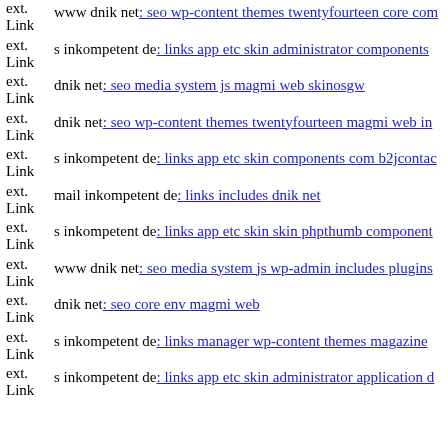ext. Link  www dnik net: seo wp-content themes twentyfourteen core com
ext. Link  s inkompetent de: links app etc skin administrator components
ext. Link  dnik net: seo media system js magmi web skinosgw
ext. Link  dnik net: seo wp-content themes twentyfourteen magmi web in
ext. Link  s inkompetent de: links app etc skin components com b2jcontac
ext. Link  mail inkompetent de: links includes dnik net
ext. Link  s inkompetent de: links app etc skin skin phpthumb component
ext. Link  www dnik net: seo media system js wp-admin includes plugins
ext. Link  dnik net: seo core env magmi web
ext. Link  s inkompetent de: links manager wp-content themes magazine
ext. Link  s inkompetent de: links app etc skin administrator application d